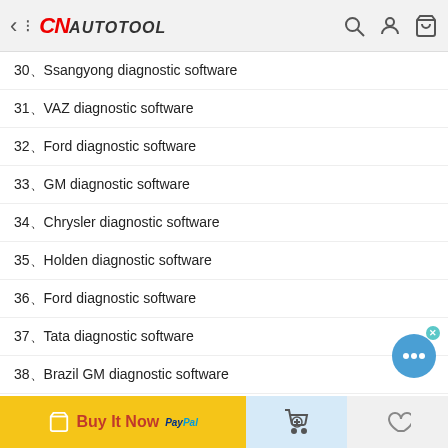CNAutotool
30、Ssangyong diagnostic software
31、VAZ diagnostic software
32、Ford diagnostic software
33、GM diagnostic software
34、Chrysler diagnostic software
35、Holden diagnostic software
36、Ford diagnostic software
37、Tata diagnostic software
38、Brazil GM diagnostic software
39、BYD diagnostic software
40、ZhongTai diagnostic software
Buy It Now  PayPal
41、...an diagnostic software